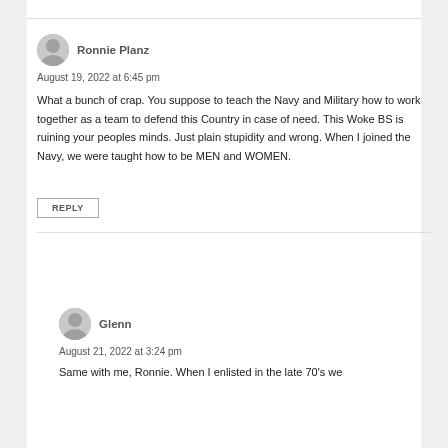Ronnie Planz
August 19, 2022 at 6:45 pm
What a bunch of crap. You suppose to teach the Navy and Military how to work together as a team to defend this Country in case of need. This Woke BS is ruining your peoples minds. Just plain stupidity and wrong. When I joined the Navy, we were taught how to be MEN and WOMEN.
REPLY
Glenn
August 21, 2022 at 3:24 pm
Same with me, Ronnie. When I enlisted in the late 70's we…